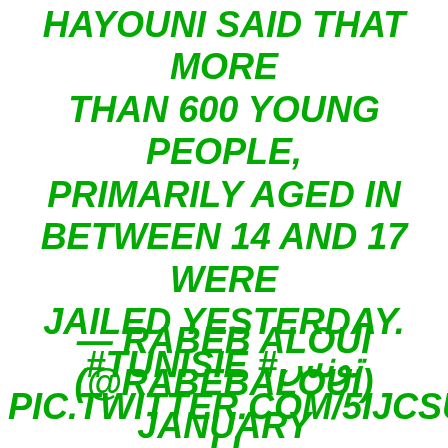HAYOUNI SAID THAT MORE THAN 600 YOUNG PEOPLE, PRIMARILY AGED IN BETWEEN 14 AND 17 WERE JAILED YESTERDAY. #TUNISIE #تونس PIC.TWITTER.COM/5IJCSU5R LI
— RABEB ALOUI (@RABEBALOUI) JANUARY 18, 2021